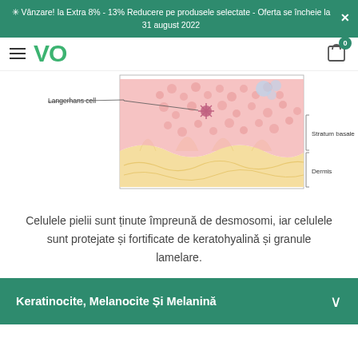✳ Vânzare! Ia Extra 8% - 13% Reducere pe produsele selectate - Oferta se încheie la 31 august 2022
[Figure (illustration): Cross-section anatomical diagram of skin layers showing Langerhans cell labeled with arrow, Stratum basale labeled on right, and Dermis labeled below. The illustration shows pink epidermis tissue with dermal papillae and wavy structures in yellow representing dermis.]
Celulele pielii sunt ținute împreună de desmosomi, iar celulele sunt protejate și fortificate de keratohyalină și granule lamelare.
Keratinocite, Melanocite Și Melanină